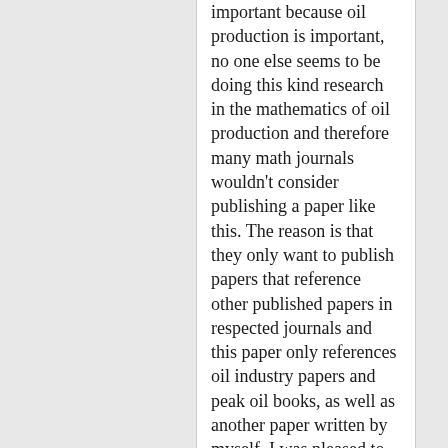important because oil production is important, no one else seems to be doing this kind research in the mathematics of oil production and therefore many math journals wouldn't consider publishing a paper like this. The reason is that they only want to publish papers that reference other published papers in respected journals and this paper only references oil industry papers and peak oil books, as well as another paper written by myself. I was pleased to learn about Michel's paper, which is published in